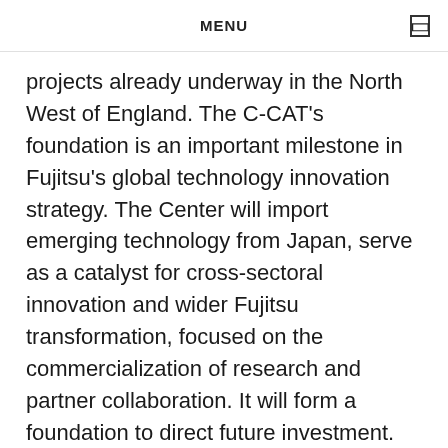MENU
projects already underway in the North West of England. The C-CAT’s foundation is an important milestone in Fujitsu’s global technology innovation strategy. The Center will import emerging technology from Japan, serve as a catalyst for cross-sectoral innovation and wider Fujitsu transformation, focused on the commercialization of research and partner collaboration. It will form a foundation to direct future investment.
The announcement follows the strengthening of the relationship between the UK and Japan since the signing of the Free Trade Agreement in October 2020. The FTA enables greater collaboration in science and